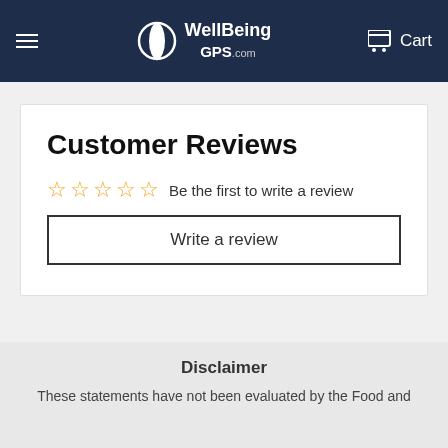WellBeingGPS.com  Cart
Customer Reviews
☆☆☆☆☆ Be the first to write a review
Write a review
Disclaimer
These statements have not been evaluated by the Food and Drug Administration. These statements are not intended to diagnose,